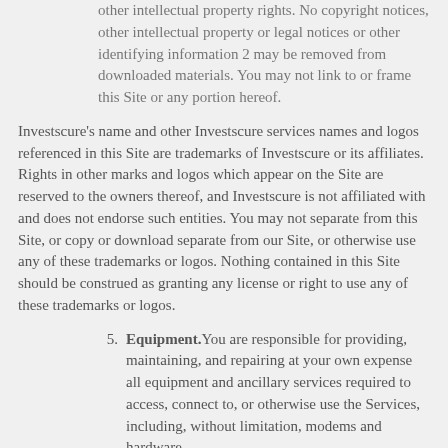other intellectual property rights. No copyright notices, other intellectual property or legal notices or other identifying information 2 may be removed from downloaded materials. You may not link to or frame this Site or any portion hereof.
Investscure's name and other Investscure services names and logos referenced in this Site are trademarks of Investscure or its affiliates. Rights in other marks and logos which appear on the Site are reserved to the owners thereof, and Investscure is not affiliated with and does not endorse such entities. You may not separate from this Site, or copy or download separate from our Site, or otherwise use any of these trademarks or logos. Nothing contained in this Site should be construed as granting any license or right to use any of these trademarks or logos.
5. Equipment. You are responsible for providing, maintaining, and repairing at your own expense all equipment and ancillary services required to access, connect to, or otherwise use the Services, including, without limitation, modems and hardware.
6. Registration & Account Use. You must be at least Eighteen (18) years old to register for or use the Site. Notwithstanding the foregoing, if you reside in a state, country or other jurisdiction that requires a higher minimum